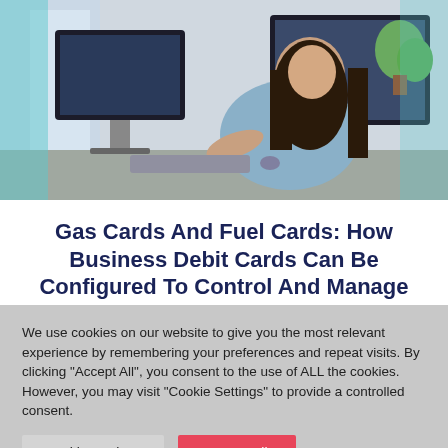[Figure (photo): A woman with long dark hair sitting at a desk with two monitors, gesturing with her hand, wearing a light blue top. Office environment with plants visible in the background.]
Gas Cards And Fuel Cards: How Business Debit Cards Can Be Configured To Control And Manage Small Fleet Fuel Expenses
We use cookies on our website to give you the most relevant experience by remembering your preferences and repeat visits. By clicking "Accept All", you consent to the use of ALL the cookies. However, you may visit "Cookie Settings" to provide a controlled consent.